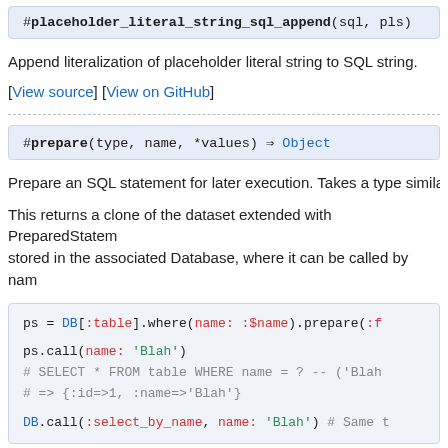#placeholder_literal_string_sql_append(sql, pls)
Append literalization of placeholder literal string to SQL string.
[View source] [View on GitHub]
#prepare(type, name, *values) ⇒ Object
Prepare an SQL statement for later execution. Takes a type simila
This returns a clone of the dataset extended with PreparedStatem stored in the associated Database, where it can be called by nam
[Figure (screenshot): Code block showing Ruby Sequel prepared statement usage with ps = DB[:table].where, ps.call, and DB.call examples]